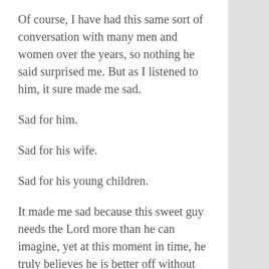Of course, I have had this same sort of conversation with many men and women over the years, so nothing he said surprised me. But as I listened to him, it sure made me sad.
Sad for him.
Sad for his wife.
Sad for his young children.
It made me sad because this sweet guy needs the Lord more than he can imagine, yet at this moment in time, he truly believes he is better off without Him. That he is better off without his Maker. Better off without the One who formed Him in